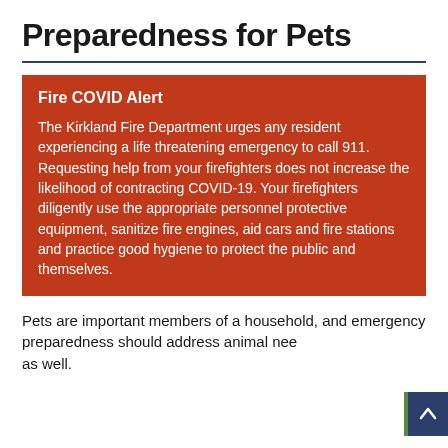Preparedness for Pets
Fire COVID Alert
The Kirkland Fire Department urges any resident experiencing a life threatening emergency to call 911. Requesting help from your firefighters does not increase the likelihood of contracting COVID-19. Your firefighters diligently use the appropriate personnel protective equipment, sanitize fire engines, aid cars and fire stations and practice good hygiene to protect the public and themselves.
Pets are important members of a household, and emergency preparedness should address animal needs as well.